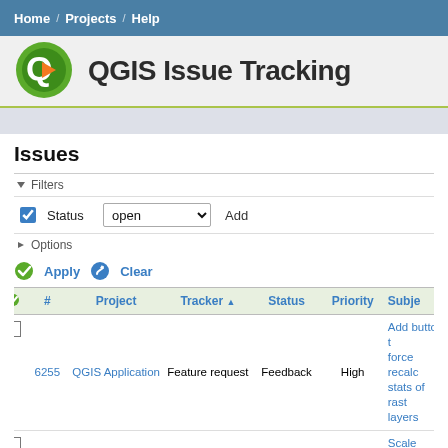Home / Projects / Help
QGIS Issue Tracking
Issues
Filters
Status  open
Options
Apply  Clear
|  | # | Project | Tracker | Status | Priority | Subject |
| --- | --- | --- | --- | --- | --- | --- |
|  | 6255 | QGIS Application | Feature request | Feedback | High | Add button to force recalc stats of raster layers |
|  | 6579 | QGIS Application | Feature request | Feedback | Normal | Scale selector Coordinate width |
|  | 6905 | QGIS Application | Feature request | Feedback | Normal | Changing "search addr to accept At feeds |